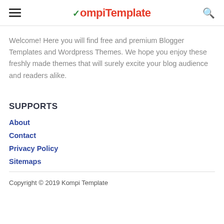KompiTemplate
Welcome! Here you will find free and premium Blogger Templates and Wordpress Themes. We hope you enjoy these freshly made themes that will surely excite your blog audience and readers alike.
SUPPORTS
About
Contact
Privacy Policy
Sitemaps
Copyright © 2019 Kompi Template